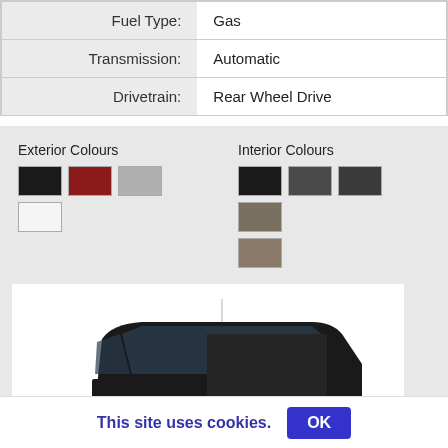| Fuel Type: | Gas |
| Transmission: | Automatic |
| Drivetrain: | Rear Wheel Drive |
Exterior Colours | Interior Colours (colour swatches shown)
[Figure (photo): Black Chevrolet Express cargo van, front three-quarter view on white background]
This site uses cookies. OK